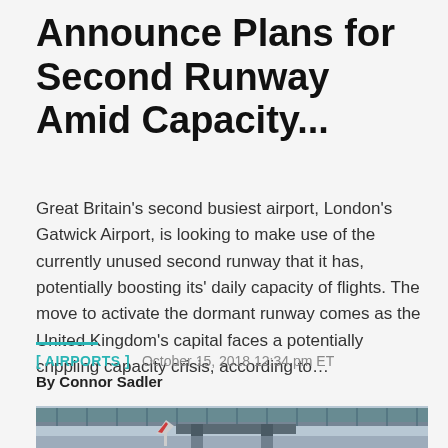Announce Plans for Second Runway Amid Capacity...
Great Britain's second busiest airport, London's Gatwick Airport, is looking to make use of the currently unused second runway that it has, potentially boosting its' daily capacity of flights. The move to activate the dormant runway comes as the United Kingdom's capital faces a potentially crippling capacity crisis, according to…
[ AIRPORTS ]   October 15, 2018 12:34 pm ET
By Connor Sadler
[Figure (photo): Photograph of an airport terminal building with a skybridge, seen from below, with an aircraft tail visible in the foreground.]